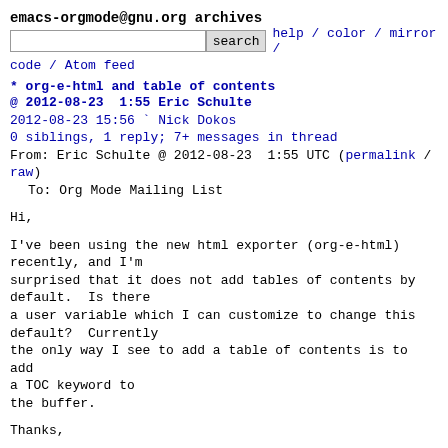emacs-orgmode@gnu.org archives
search  help / color / mirror / code / Atom feed
* org-e-html and table of contents
@ 2012-08-23  1:55 Eric Schulte
  2012-08-23 15:56 ` Nick Dokos
  0 siblings, 1 reply; 7+ messages in thread
From: Eric Schulte @ 2012-08-23  1:55 UTC (permalink / raw)
  To: Org Mode Mailing List
Hi,

I've been using the new html exporter (org-e-html) recently, and I'm
surprised that it does not add tables of contents by default.  Is there
a user variable which I can customize to change this default?  Currently
the only way I see to add a table of contents is to add a TOC keyword to
the buffer.

Thanks,

--
Eric Schulte
http://cs.unm.edu/~eschulte